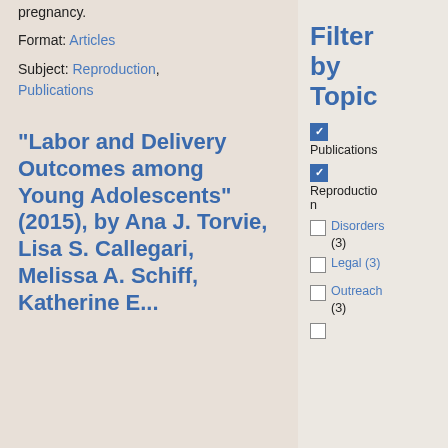pregnancy.
Format: Articles
Subject: Reproduction, Publications
“Labor and Delivery Outcomes among Young Adolescents” (2015), by Ana J. Torvie, Lisa S. Callegari, Melissa A. Schiff, Katherine E...
Filter by Topic
Publications (checked)
Reproduction (checked)
Disorders (3)
Legal (3)
Outreach (3)